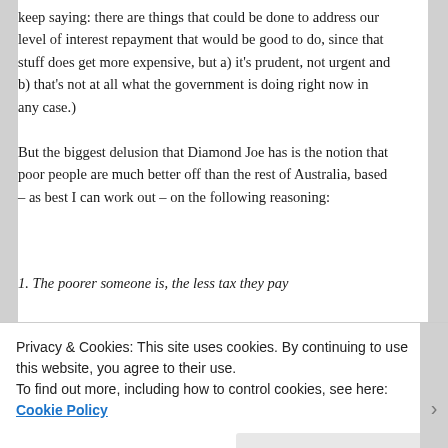keep saying: there are things that could be done to address our level of interest repayment that would be good to do, since that stuff does get more expensive, but a) it's prudent, not urgent and b) that's not at all what the government is doing right now in any case.)

But the biggest delusion that Diamond Joe has is the notion that poor people are much better off than the rest of Australia, based – as best I can work out – on the following reasoning:
1. The poorer someone is, the less tax they pay
2. I, as Federal Treasurer making $397,869 per year before
Privacy & Cookies: This site uses cookies. By continuing to use this website, you agree to their use.
To find out more, including how to control cookies, see here: Cookie Policy